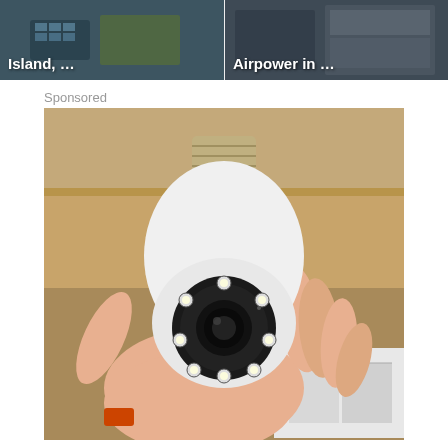[Figure (photo): Thumbnail image labeled 'Island, ...' showing aerial view of solar panels on an island]
[Figure (photo): Thumbnail image labeled 'Airpower in ...' showing aerial or technology-related image]
Sponsored
[Figure (photo): Sponsored advertisement photo of a light-bulb shaped security camera being held in a hand, showing the camera lens with LED lights and E27 screw base, in a warehouse setting]